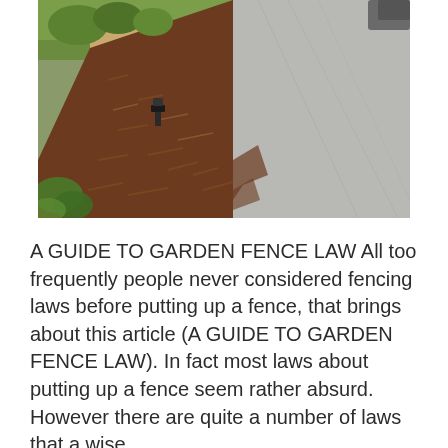[Figure (photo): Outdoor photograph showing a landscaped garden bed with brown wood chip mulch bordered by wooden timber edging on the left, green grass and shrubs visible, a small landscape solar light in the mulch, and a concrete driveway or sidewalk on the right side.]
A GUIDE TO GARDEN FENCE LAW All too frequently people never considered fencing laws before putting up a fence, that brings about this article (A GUIDE TO GARDEN FENCE LAW). In fact most laws about putting up a fence seem rather absurd. However there are quite a number of laws that a wise